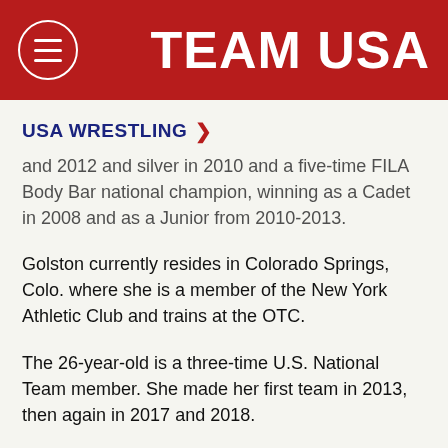TEAM USA
USA WRESTLING >
and 2012 and silver in 2010 and a five-time FILA Body Bar national champion, winning as a Cadet in 2008 and as a Junior from 2010-2013.
Golston currently resides in Colorado Springs, Colo. where she is a member of the New York Athletic Club and trains at the OTC.
The 26-year-old is a three-time U.S. National Team member. She made her first team in 2013, then again in 2017 and 2018.
In 2018, ESPN ran a video feature on Golston which can